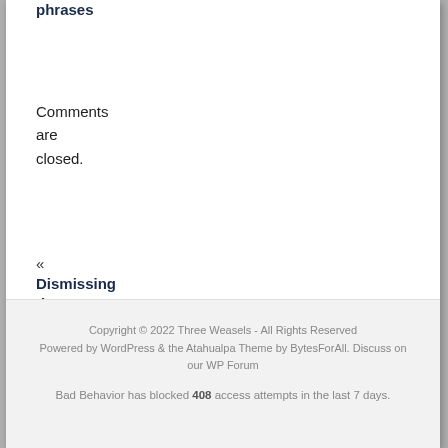phrases
Comments are closed.
« Dismissing the Talk – Amusing phrases
Copyright © 2022 Three Weasels - All Rights Reserved
Powered by WordPress & the Atahualpa Theme by BytesForAll. Discuss on our WP Forum
Bad Behavior has blocked 408 access attempts in the last 7 days.